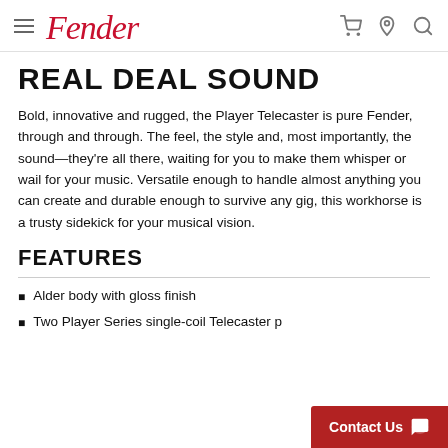Fender [logo] — navigation header with hamburger menu, cart, location, and search icons
REAL DEAL SOUND
Bold, innovative and rugged, the Player Telecaster is pure Fender, through and through. The feel, the style and, most importantly, the sound—they're all there, waiting for you to make them whisper or wail for your music. Versatile enough to handle almost anything you can create and durable enough to survive any gig, this workhorse is a trusty sidekick for your musical vision.
FEATURES
Alder body with gloss finish
Two Player Series single-coil Telecaster p…